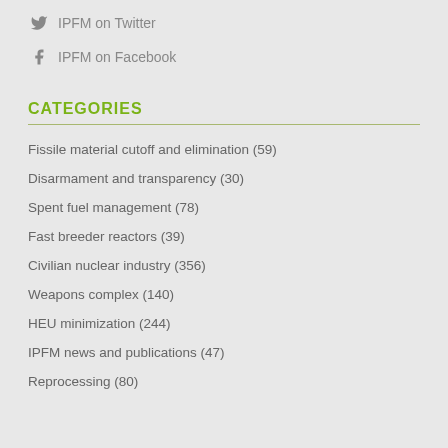IPFM on Twitter
IPFM on Facebook
CATEGORIES
Fissile material cutoff and elimination (59)
Disarmament and transparency (30)
Spent fuel management (78)
Fast breeder reactors (39)
Civilian nuclear industry (356)
Weapons complex (140)
HEU minimization (244)
IPFM news and publications (47)
Reprocessing (80)